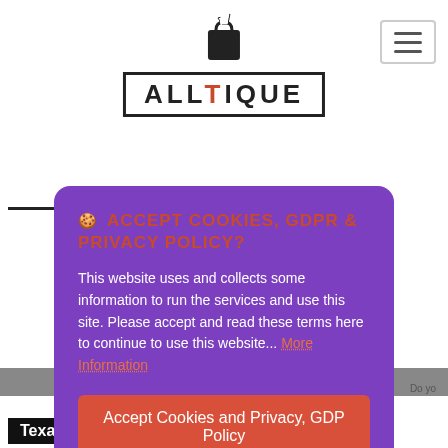[Figure (logo): Alltique logo with shopping bag icon above text in bordered box]
🍪 ACCEPT COOKIES, GDPR & PRIVACY POLICY?
This website uses and collects some information to run the services and use this site. Please accept and read these terms here to continue to use this website... More information
Accept Cookies and Privacy, GDP Policy
Customise Cookies
Linda Kovarashe
Texas, US